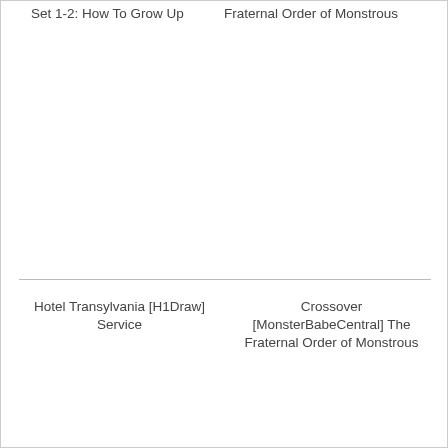Set 1-2: How To Grow Up
Fraternal Order of Monstrous
Hotel Transylvania [H1Draw] Service
Crossover [MonsterBabeCentral] The Fraternal Order of Monstrous